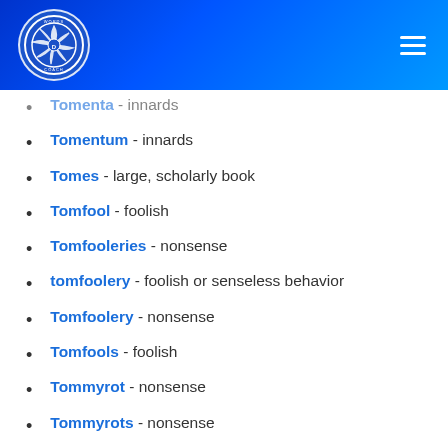[Figure (logo): Words Coach logo - circular blue badge with camera aperture icon and text]
Tomenta - innards
Tomentum - innards
Tomes - large, scholarly book
Tomfool - foolish
Tomfooleries - nonsense
tomfoolery - foolish or senseless behavior
Tomfoolery - nonsense
Tomfools - foolish
Tommyrot - nonsense
Tommyrots - nonsense